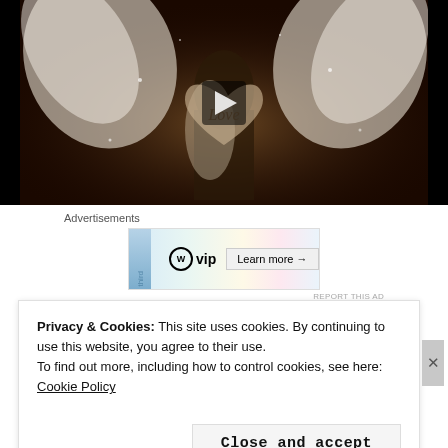[Figure (photo): Video thumbnail showing two people dressed as angels with white feathered wings kissing/embracing, with a wooden heart with 'Love' written on it in the center. A play button triangle is overlaid in the center.]
Advertisements
[Figure (screenshot): Advertisement banner showing WordPress VIP logo on the left and colorful cards (slack, Facebook, etc.) in the middle, with a 'Learn more →' button on the right.]
REPORT THIS AD
Privacy & Cookies: This site uses cookies. By continuing to use this website, you agree to their use.
To find out more, including how to control cookies, see here: Cookie Policy
Close and accept